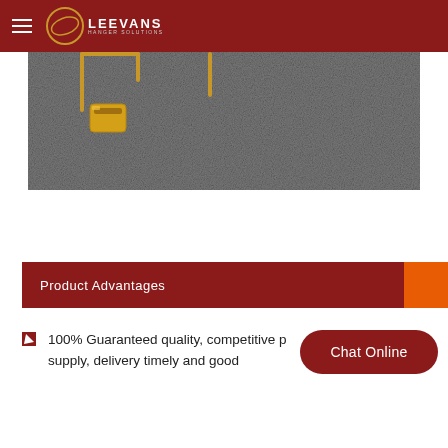Leevans Hanger Solutions
[Figure (photo): Close-up photo of gold-colored garment hanger clips on grey fabric textile]
Product Advantages
100% Guaranteed quality, competitive p... stable supply, delivery timely and good